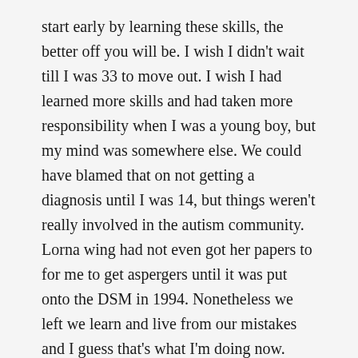start early by learning these skills, the better off you will be. I wish I didn't wait till I was 33 to move out. I wish I had learned more skills and had taken more responsibility when I was a young boy, but my mind was somewhere else. We could have blamed that on not getting a diagnosis until I was 14, but things weren't really involved in the autism community. Lorna wing had not even got her papers to for me to get aspergers until it was put onto the DSM in 1994. Nonetheless we left we learn and live from our mistakes and I guess that's what I'm doing now.
Being responsible is learning those skills, hurting in on them and growing and developing them and making them habits. It's important to make things a habit and I've learned that well, through the last four and a half